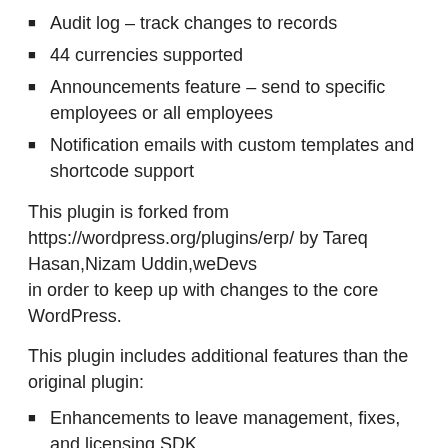Audit log – track changes to records
44 currencies supported
Announcements feature – send to specific employees or all employees
Notification emails with custom templates and shortcode support
This plugin is forked from https://wordpress.org/plugins/erp/ by Tareq Hasan,Nizam Uddin,weDevs in order to keep up with changes to the core WordPress.
This plugin includes additional features than the original plugin:
Enhancements to leave management, fixes, and licensing SDK.
Plugin supports in multiple languages.